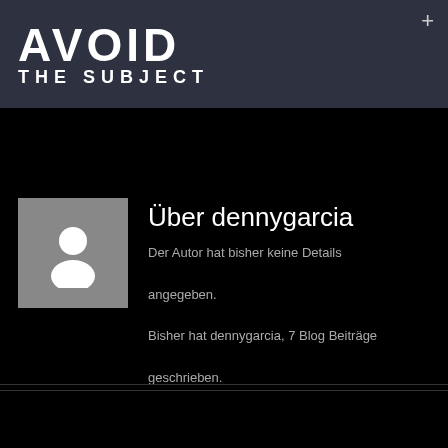AVOID THE SUBJECT
+
[Figure (illustration): Generic user avatar placeholder: grey square background with white silhouette of a person (head and shoulders)]
Über dennygarcia
Der Autor hat bisher keine Details angegeben.

Bisher hat dennygarcia, 7 Blog Beiträge geschrieben.